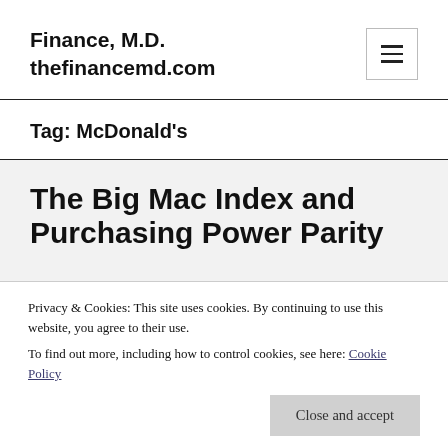Finance, M.D.
thefinancemd.com
Tag: McDonald's
The Big Mac Index and Purchasing Power Parity
Privacy & Cookies: This site uses cookies. By continuing to use this website, you agree to their use.
To find out more, including how to control cookies, see here: Cookie Policy
Close and accept
to better demonstrate Purchasing Power Parity